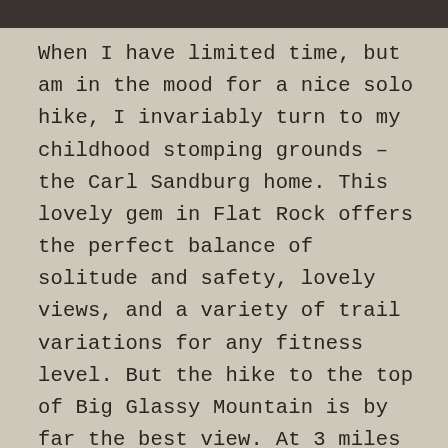[Figure (photo): Partial image strip at the top of the page, dark tones suggesting an outdoor/nature photograph.]
When I have limited time, but am in the mood for a nice solo hike, I invariably turn to my childhood stomping grounds – the Carl Sandburg home. This lovely gem in Flat Rock offers the perfect balance of solitude and safety, lovely views, and a variety of trail variations for any fitness level. But the hike to the top of Big Glassy Mountain is by far the best view. At 3 miles out-and-back, it's relatively short, but the hike is pretty much straight up hill, so don't skimp on proper footwear. This area becomes pretty heavily trafficked in summer, but if you check it out early in the morning, you can still enjoy some solitude.